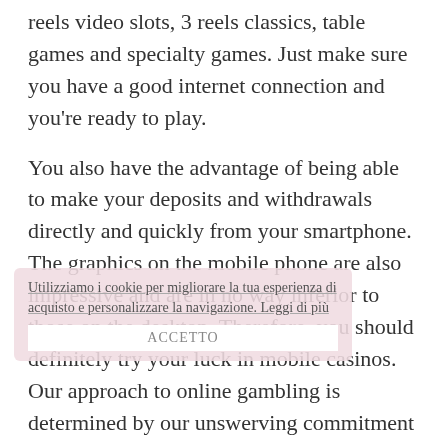reels video slots, 3 reels classics, table games and specialty games. Just make sure you have a good internet connection and you're ready to play.
You also have the advantage of being able to make your deposits and withdrawals directly and quickly from your smartphone. The graphics on the mobile phone are also impressive and are in no way inferior to those on the desktop. Therefore, you should definitely try your luck in mobile casinos. Our approach to online gambling is determined by our unswerving commitment to the utmost quality. This means you get the finest software available for seamless functionality on smartphone and tablet, a massive variety of games, and secure services. Whether you love slots, table games, or other options, you can play for free or for real
Utilizziamo i cookie per migliorare la tua esperienza di acquisto e personalizzare la navigazione. Leggi di più
ACCETTO